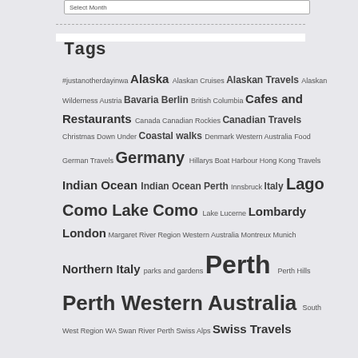Select Month
Tags
#justanotherdayinwa Alaska Alaskan Cruises Alaskan Travels Alaskan Wilderness Austria Bavaria Berlin British Columbia Cafes and Restaurants Canada Canadian Rockies Canadian Travels Christmas Down Under Coastal walks Denmark Western Australia Food German Travels Germany Hillarys Boat Harbour Hong Kong Travels Indian Ocean Indian Ocean Perth Innsbruck Italy Lago Como Lake Como Lake Lucerne Lombardy London Margaret River Region Western Australia Montreux Munich Northern Italy parks and gardens Perth Perth Hills Perth Western Australia South West Region WA Swan River Perth Swiss Alps Swiss Travels Travels